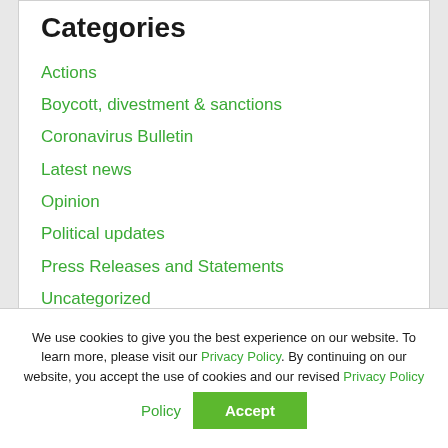Categories
Actions
Boycott, divestment & sanctions
Coronavirus Bulletin
Latest news
Opinion
Political updates
Press Releases and Statements
Uncategorized
We use cookies to give you the best experience on our website. To learn more, please visit our Privacy Policy. By continuing on our website, you accept the use of cookies and our revised Privacy Policy
Accept